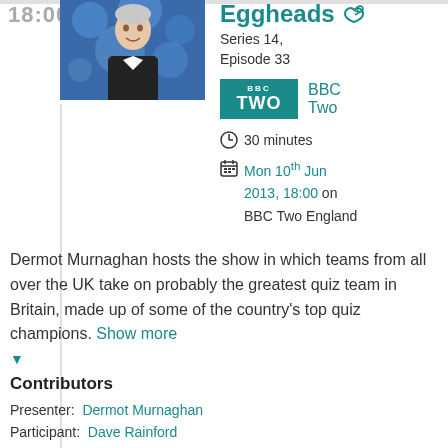18:00
[Figure (photo): Photo of Dermot Murnaghan, presenter of Eggheads, against a blurred blue background]
Eggheads
Series 14, Episode 33
BBC Two
30 minutes
Mon 10th Jun 2013, 18:00 on BBC Two England
Dermot Murnaghan hosts the show in which teams from all over the UK take on probably the greatest quiz team in Britain, made up of some of the country's top quiz champions. Show more
Contributors
Presenter: Dermot Murnaghan
Participant: Dave Rainford